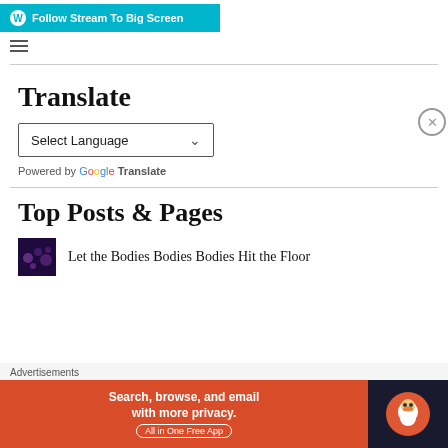Follow Stream To Big Screen
Translate
[Figure (screenshot): Select Language dropdown widget with chevron arrow]
Powered by Google Translate
Top Posts & Pages
[Figure (photo): Dark purple/galaxy thumbnail image for post]
Let the Bodies Bodies Bodies Hit the Floor
[Figure (screenshot): DuckDuckGo advertisement banner: Search, browse, and email with more privacy. All in One Free App]
Advertisements